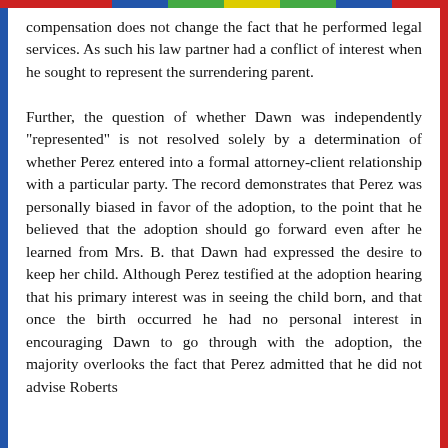compensation does not change the fact that he performed legal services. As such his law partner had a conflict of interest when he sought to represent the surrendering parent.

Further, the question of whether Dawn was independently "represented" is not resolved solely by a determination of whether Perez entered into a formal attorney-client relationship with a particular party. The record demonstrates that Perez was personally biased in favor of the adoption, to the point that he believed that the adoption should go forward even after he learned from Mrs. B. that Dawn had expressed the desire to keep her child. Although Perez testified at the adoption hearing that his primary interest was in seeing the child born, and that once the birth occurred he had no personal interest in encouraging Dawn to go through with the adoption, the majority overlooks the fact that Perez admitted that he did not advise Roberts